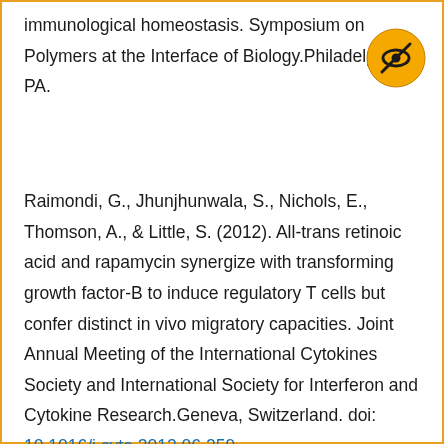immunological homeostasis. Symposium on Polymers at the Interface of Biology.Philadelphia, PA.
[Figure (logo): Circular yellow/orange badge with a crossed-out eye icon in the center (privacy/hidden symbol).]
Raimondi, G., Jhunjhunwala, S., Nichols, E., Thomson, A., & Little, S. (2012). All-trans retinoic acid and rapamycin synergize with transforming growth factor-B to induce regulatory T cells but confer distinct in vivo migratory capacities. Joint Annual Meeting of the International Cytokines Society and International Society for Interferon and Cytokine Research.Geneva, Switzerland. doi: 10.1016/j.cyto.2012.06.259